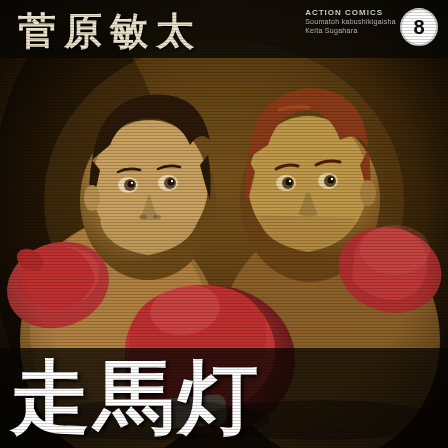菅原敏太
ACTION COMICS
Soumatoh kabushikigaisha
Keita Sugahara
8
[Figure (illustration): Manga cover artwork showing two boxers facing each other in fighting stance with boxing gloves raised. Both characters depicted in manga art style against a dark background with horizontal scan line texture. Left boxer has dark hair and appears to be smiling slightly; right boxer has reddish-brown hair and a more intense expression. Large red boxing gloves prominent in the center foreground.]
走馬灯